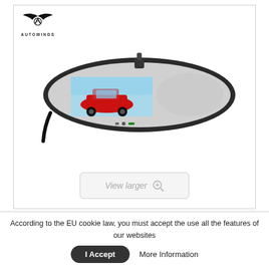[Figure (photo): Product listing page for an Autowings car rear-view mirror with built-in screen. The main image shows a black rearview mirror with a display showing a red sports car. An Autowings logo (stylized wings with 'A') appears in the top-left. A 'View larger' button is at the bottom of the main image. Two thumbnail images appear below – one showing the product front view and one showing the product from a different angle.]
According to the EU cookie law, you must accept the use all the features of our websites
I Accept   More Information